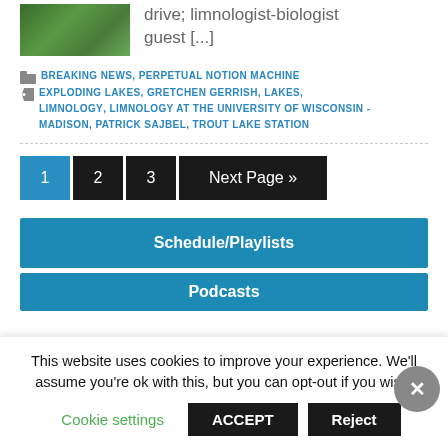[Figure (photo): Green foliage/ferns thumbnail image]
drive; limnologist-biologist guest [...]
BREAKING NEWS, PERPETUAL NOTION MACHINE EXPLODING LAKES, GRETCHEN GERRISH, LAKES, LIMNOLOGY, LIMNOLOGY AT THE UNIVERSITY OF WISCONSIN - MADISON, PATRICK SAJBEL, TROUT LAKE STATION
1 2 3 Next Page »
Schedule/Playlists
Podcasts
This website uses cookies to improve your experience. We'll assume you're ok with this, but you can opt-out if you wish. Cookie settings ACCEPT Reject